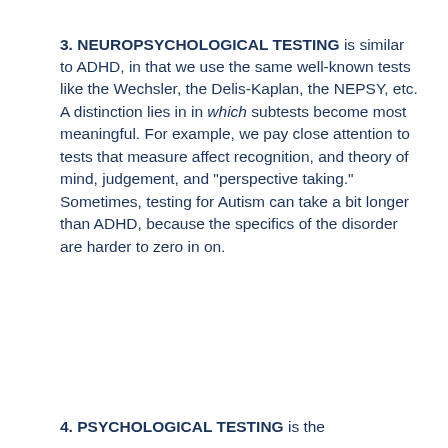3. NEUROPSYCHOLOGICAL TESTING is similar to ADHD, in that we use the same well-known tests like the Wechsler, the Delis-Kaplan, the NEPSY, etc. A distinction lies in in which subtests become most meaningful. For example, we pay close attention to tests that measure affect recognition, and theory of mind, judgement, and "perspective taking." Sometimes, testing for Autism can take a bit longer than ADHD, because the specifics of the disorder are harder to zero in on.
4. PSYCHOLOGICAL TESTING is the